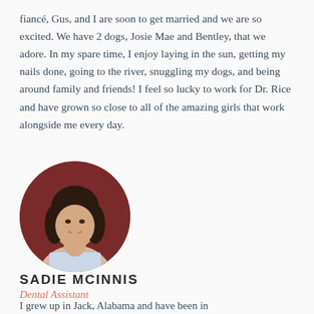fiancé, Gus, and I are soon to get married and we are so excited. We have 2 dogs, Josie Mae and Bentley, that we adore. In my spare time, I enjoy laying in the sun, getting my nails done, going to the river, snuggling my dogs, and being around family and friends! I feel so lucky to work for Dr. Rice and have grown so close to all of the amazing girls that work alongside me every day.
[Figure (photo): Circular cropped headshot photo of a young woman with dark hair, smiling, against a dark red/maroon background.]
SADIE MCINNIS
Dental Assistant
I grew up in Jack, Alabama and have been in